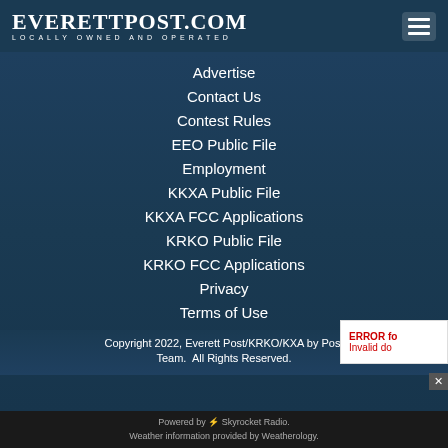EverettPost.com — Locally Owned and Operated
Advertise
Contact Us
Contest Rules
EEO Public File
Employment
KKXA Public File
KKXA FCC Applications
KRKO Public File
KRKO FCC Applications
Privacy
Terms of Use
Copyright 2022, Everett Post/KRKO/KXA by Post Team.  All Rights Reserved.
Powered by Skyrocket Radio. Weather information provided by Weatherology.